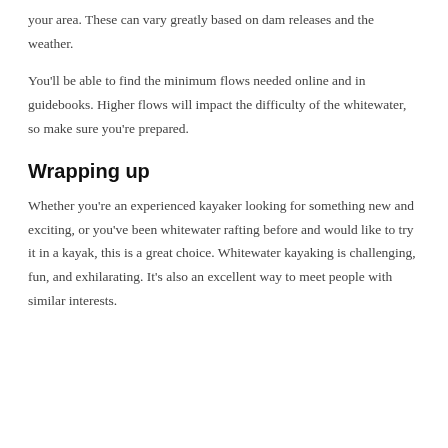your area. These can vary greatly based on dam releases and the weather.
You'll be able to find the minimum flows needed online and in guidebooks. Higher flows will impact the difficulty of the whitewater, so make sure you're prepared.
Wrapping up
Whether you're an experienced kayaker looking for something new and exciting, or you've been whitewater rafting before and would like to try it in a kayak, this is a great choice. Whitewater kayaking is challenging, fun, and exhilarating. It's also an excellent way to meet people with similar interests.